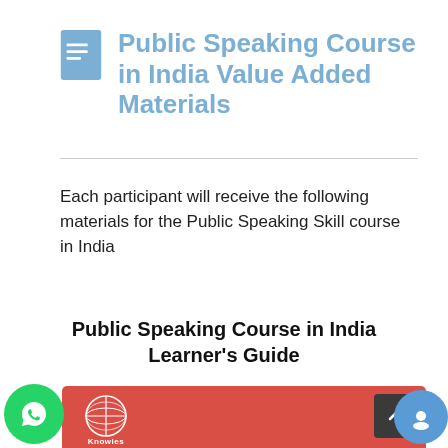Public Speaking Course in India Value Added Materials
Each participant will receive the following materials for the Public Speaking Skill course in India
Public Speaking Course in India Learner's Guide
[Figure (logo): Knowles Training Institute logo on red banner with scroll-to-top button]